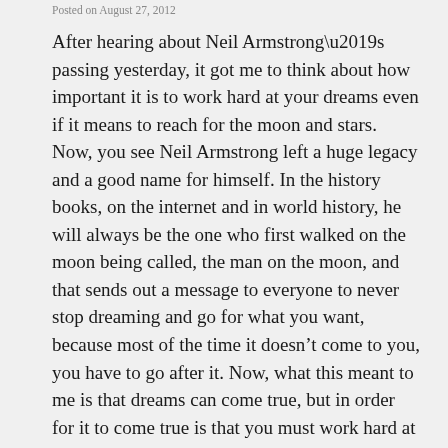Posted on August 27, 2012
After hearing about Neil Armstrong’s passing yesterday, it got me to think about how important it is to work hard at your dreams even if it means to reach for the moon and stars. Now, you see Neil Armstrong left a huge legacy and a good name for himself. In the history books, on the internet and in world history, he will always be the one who first walked on the moon being called, the man on the moon, and that sends out a message to everyone to never stop dreaming and go for what you want, because most of the time it doesn’t come to you, you have to go after it. Now, what this meant to me is that dreams can come true, but in order for it to come true is that you must work hard at it and it will. You just have to keep pursuing what you want out of your life. You can be what you want to be, but you have to really get going. You can’t say I will do it next year, or I will start doing something soon, no, things don’t work